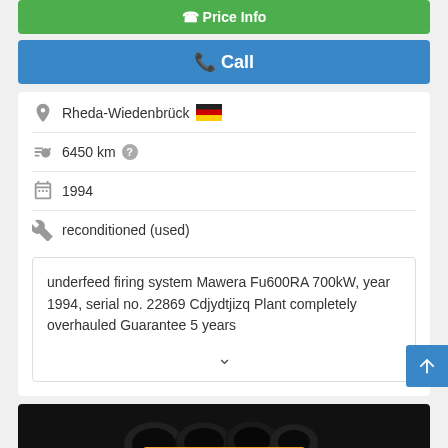[Figure (screenshot): Green 'Price Info' button (partially visible at top)]
[Figure (screenshot): Blue 'Call' button]
Rheda-Wiedenbrück 🇩🇪
6450 km ?
1994
reconditioned (used)
underfeed firing system Mawera Fu600RA 700kW, year 1994, serial no. 22869 Cdjydtjizq Plant completely overhauled Guarantee 5 years
[Figure (screenshot): Scroll to top button (blue arrow up)]
[Figure (screenshot): Product image section with dark background showing pipes and 'Save search query' orange button]